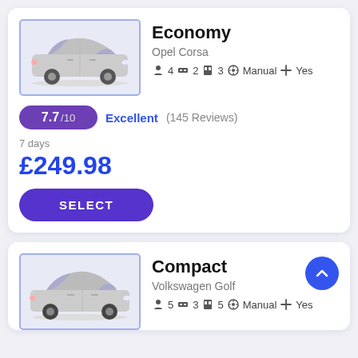[Figure (photo): Silver Opel Corsa hatchback car image inside a blue-bordered box]
Economy
Opel Corsa
👤 4 🛏 2 🚪 3 ⚙ Manual ✛ Yes
7.7/10  Excellent (145 Reviews)
7 days
£249.98
SELECT
[Figure (photo): Silver Volkswagen Golf hatchback car image inside a blue-bordered box]
Compact
Volkswagen Golf
👤 5 🛏 3 🚪 5 ⚙ Manual ✛ Yes